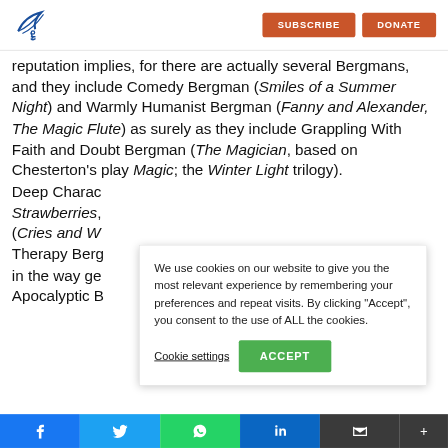SUBSCRIBE | DONATE
reputation implies, for there are actually several Bergmans, and they include Comedy Bergman (Smiles of a Summer Night) and Warmly Humanist Bergman (Fanny and Alexander, The Magic Flute) as surely as they include Grappling With Faith and Doubt Bergman (The Magician, based on Chesterton’s play Magic; the Winter Light trilogy). Deep Charac[ter Bergman] ... Strawberries, ... (Cries and W[hispers]...) ... Therapy Berg[man]... in the way ge[nerally ...] Apocalyptic B[ergman...]
We use cookies on our website to give you the most relevant experience by remembering your preferences and repeat visits. By clicking “Accept”, you consent to the use of ALL the cookies.
Cookie settings  ACCEPT